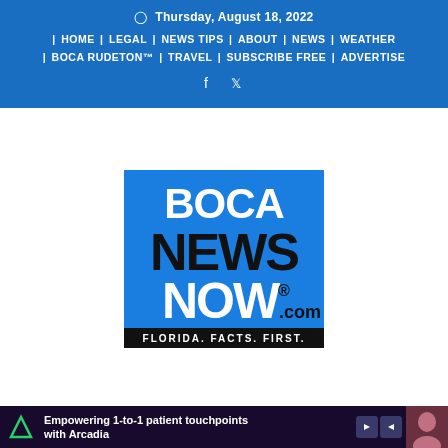Thursday, August 18, 2022 | HOME | LEGAL | NEWS TIPS | ABOUT | NEWS | WEATHER | BOCA RUDETON™ | TRAVEL | SUBSCRIBE FREE | ADVERTISE
[Figure (logo): Boca News Now .com logo — blue background with BOCA in white, NEWS in black, NOW in white, .com in black, tagline FLORIDA. FACTS. FIRST. in white on dark bar]
[Figure (screenshot): Advertisement bar: Arcadia — Empowering 1-to-1 patient touchpoints with Arcadia]